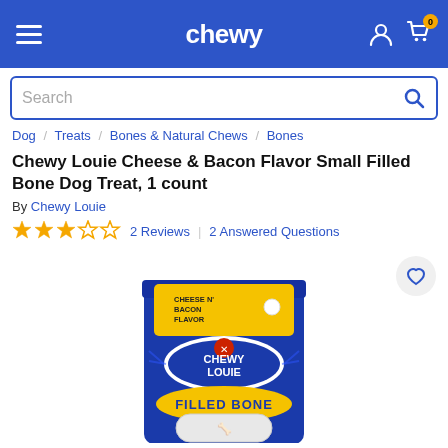chewy — navigation bar with hamburger menu, logo, user icon, and cart (0)
Search
Dog / Treats / Bones & Natural Chews / Bones
Chewy Louie Cheese & Bacon Flavor Small Filled Bone Dog Treat, 1 count
By Chewy Louie
2 Reviews | 2 Answered Questions
[Figure (photo): Product photo of Chewy Louie Cheese N' Bacon Flavor Filled Bone dog treat package — dark blue foil bag with yellow header strip labeled CHEESE N' BACON FLAVOR, Chewy Louie logo with dog icon, and FILLED BONE text on yellow oval. A window on the front shows the bone inside.]